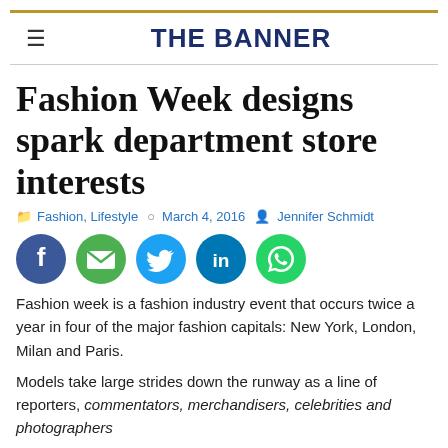THE BANNER
Fashion Week designs spark department store interests
Fashion, Lifestyle  ○ March 4, 2016  • Jennifer Schmidt
[Figure (infographic): Five social media share icons: Facebook (blue circle with f), Email (green circle with envelope), Twitter (light blue circle with bird), LinkedIn (blue circle with in), WhatsApp (green circle with phone)]
Fashion week is a fashion industry event that occurs twice a year in four of the major fashion capitals: New York, London, Milan and Paris.
Models take large strides down the runway as a line of reporters, commentators, merchandisers, celebrities and photographers